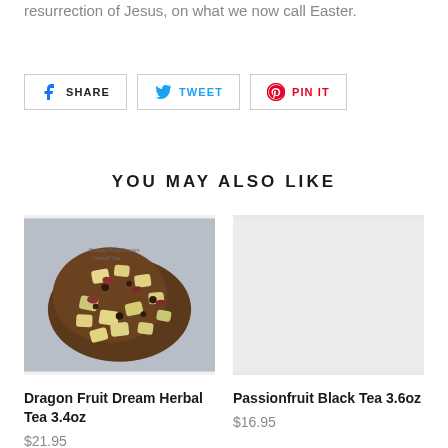resurrection of Jesus, on what we now call Easter.
[Figure (other): Social sharing buttons: Facebook Share, Twitter Tweet, Pinterest Pin It]
YOU MAY ALSO LIKE
[Figure (photo): Dragon Fruit Dream Herbal Tea 3.4oz product image showing loose leaf herbal tea with dried fruit pieces on a light background]
Dragon Fruit Dream Herbal Tea 3.4oz
$21.95
[Figure (photo): Passionfruit Black Tea 3.6oz product image placeholder (light grey background)]
Passionfruit Black Tea 3.6oz
$16.95